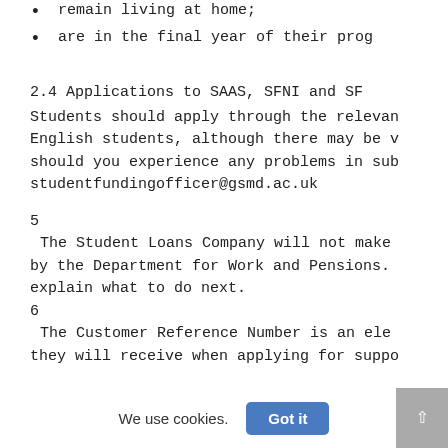remain living at home;
are in the final year of their prog
2.4    Applications to SAAS, SFNI and SF
Students should apply through the relevan
English students, although there may be v
should you experience any problems in sub
studentfundingofficer@gsmd.ac.uk
5
The Student Loans Company will not make
by the Department for Work and Pensions.
explain what to do next.
6
The Customer Reference Number is an ele
they will receive when applying for suppo